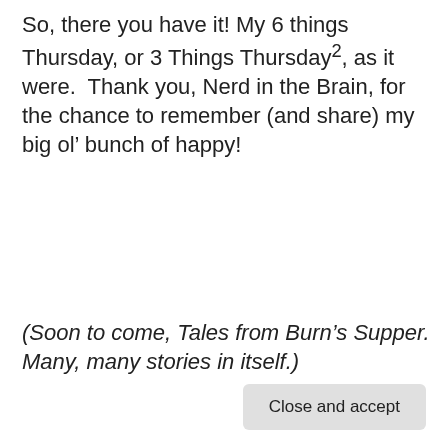So, there you have it! My 6 things Thursday, or 3 Things Thursday², as it were.  Thank you, Nerd in the Brain, for the chance to remember (and share) my big ol' bunch of happy!
(Soon to come, Tales from Burn's Supper. Many, many stories in itself.)
[Figure (illustration): Orange-bordered box with teal background showing partial text '3 Things Thursday' in large orange bold font, partially obscured by cookie notice overlay]
Privacy & Cookies: This site uses cookies. By continuing to use this website, you agree to their use.
To find out more, including how to control cookies, see here: Cookie Policy
Close and accept